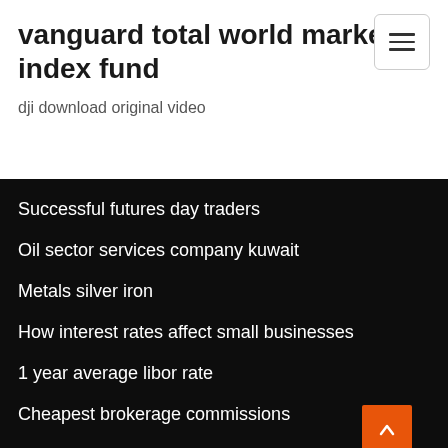vanguard total world market index fund
dji download original video
Successful futures day traders
Oil sector services company kuwait
Metals silver iron
How interest rates affect small businesses
1 year average libor rate
Cheapest brokerage commissions
Trade credit insurance jobs
Silver dollar 1979 value
Chart a path forward